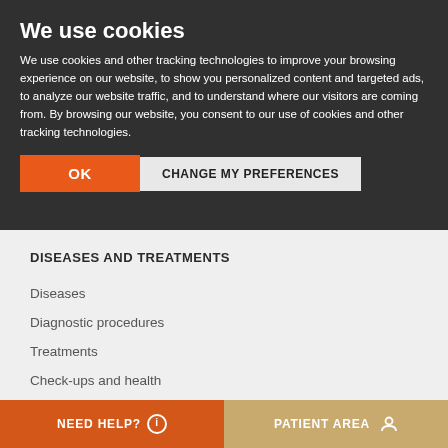We use cookies
We use cookies and other tracking technologies to improve your browsing experience on our website, to show you personalized content and targeted ads, to analyze our website traffic, and to understand where our visitors are coming from. By browsing our website, you consent to our use of cookies and other tracking technologies.
OK | CHANGE MY PREFERENCES
DISEASES AND TREATMENTS
Diseases
Diagnostic procedures
Treatments
Check-ups and health
NEED HELP? | PATIENT AREA